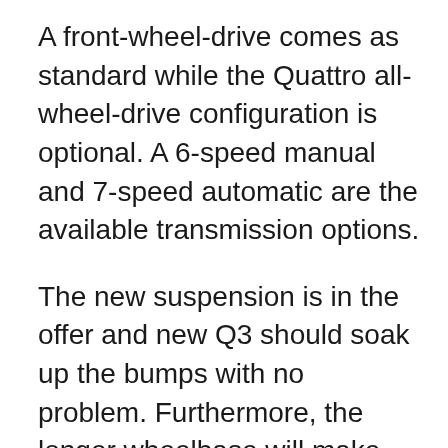A front-wheel-drive comes as standard while the Quattro all-wheel-drive configuration is optional. A 6-speed manual and 7-speed automatic are the available transmission options.
The new suspension is in the offer and new Q3 should soak up the bumps with no problem. Furthermore, the longer wheelbase will make the ride even smoother. Damper control system and hill descent control are the latest systems that will make a production. Additionally, this compact crossover SUV offers up to six different driving modes. You can switch between the settings and change the level of comfort, steering, and performance.